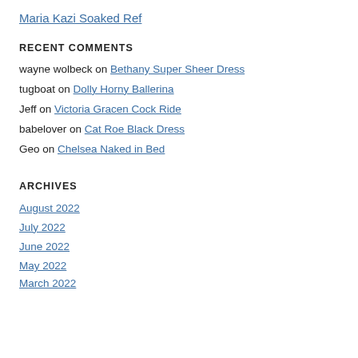Maria Kazi Soaked Ref
RECENT COMMENTS
wayne wolbeck on Bethany Super Sheer Dress
tugboat on Dolly Horny Ballerina
Jeff on Victoria Gracen Cock Ride
babelover on Cat Roe Black Dress
Geo on Chelsea Naked in Bed
ARCHIVES
August 2022
July 2022
June 2022
May 2022
March 2022